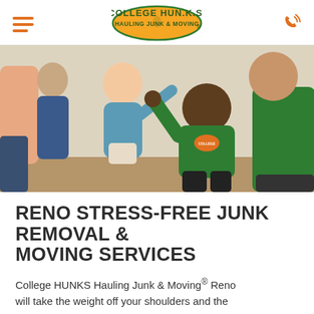College HUNKS Hauling Junk & Moving - navigation header
[Figure (photo): Two College HUNKS employees in green uniforms high-fiving with a young boy indoors, family in background]
RENO STRESS-FREE JUNK REMOVAL & MOVING SERVICES
College HUNKS Hauling Junk & Moving® Reno will take the weight off your shoulders and the